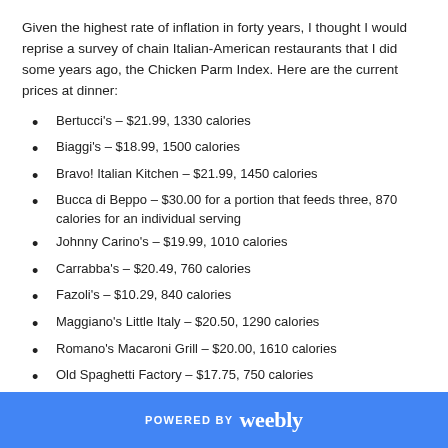Given the highest rate of inflation in forty years, I thought I would reprise a survey of chain Italian-American restaurants that I did some years ago, the Chicken Parm Index. Here are the current prices at dinner:
Bertucci's – $21.99, 1330 calories
Biaggi's – $18.99, 1500 calories
Bravo! Italian Kitchen – $21.99, 1450 calories
Bucca di Beppo – $30.00 for a portion that feeds three, 870 calories for an individual serving
Johnny Carino's – $19.99, 1010 calories
Carrabba's – $20.49, 760 calories
Fazoli's – $10.29, 840 calories
Maggiano's Little Italy – $20.50, 1290 calories
Romano's Macaroni Grill – $20.00, 1610 calories
Old Spaghetti Factory – $17.75, 750 calories
Olive Garden – $17.79, 1020 calories
POWERED BY weebly